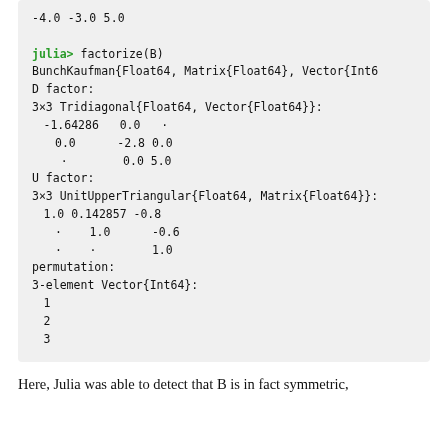[Figure (screenshot): Julia REPL code block showing factorize(B) output with BunchKaufman factorization result including D factor (3x3 Tridiagonal), U factor (3x3 UnitUpperTriangular), and permutation (3-element Vector{Int64})]
Here, Julia was able to detect that B is in fact symmetric,